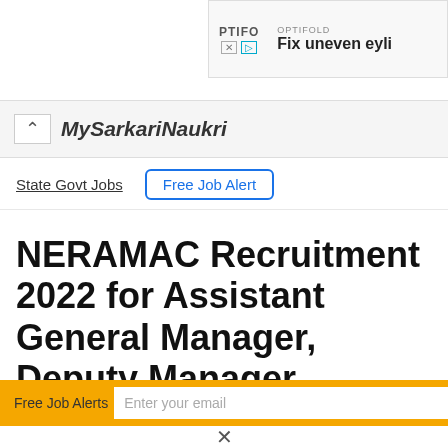[Figure (screenshot): Advertisement banner for OPTIFOLD showing 'Fix uneven eyeli...' text with PTIFO logo and media controls]
MySarkariNaukri
State Govt Jobs   Free Job Alert
NERAMAC Recruitment 2022 for Assistant General Manager, Deputy Manager
Free Job Alerts   Enter your email